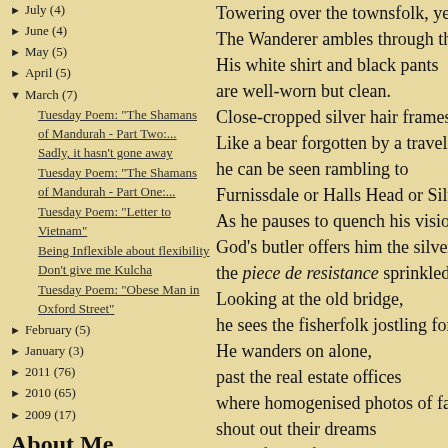► July (4)
► June (4)
► May (5)
► April (5)
▼ March (7)
Tuesday Poem: "The Shamans of Mandurah - Part Two:...
Sadly, it hasn't gone away
Tuesday Poem: "The Shamans of Mandurah - Part One:...
Tuesday Poem: "Letter to Vietnam"
Being Inflexible about flexibility
Don't give me Kulcha
Tuesday Poem: "Obese Man in Oxford Street"
► February (5)
► January (3)
► 2011 (76)
► 2010 (65)
► 2009 (17)
About Me
Towering over the townsfolk, yet unno
The Wanderer ambles through the stre
His white shirt and black pants
are well-worn but clean.
Close-cropped silver hair frames his g
Like a bear forgotten by a travelling ci
he can be seen rambling to
Furnissdale or Halls Head or Silver Sa
As he pauses to quench his vision,
God's butler offers him the silver-plate
the piece de resistance sprinkled with
Looking at the old bridge,
he sees the fisherfolk jostling for casti
He wanders on alone,
past the real estate offices
where homogenised photos of faceles
shout out their dreams
in the form of women's names